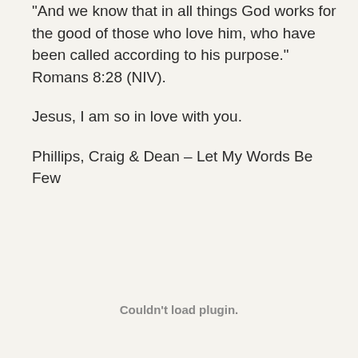"And we know that in all things God works for the good of those who love him, who have been called according to his purpose." Romans 8:28 (NIV).
Jesus, I am so in love with you.
Phillips, Craig & Dean – Let My Words Be Few
Couldn't load plugin.